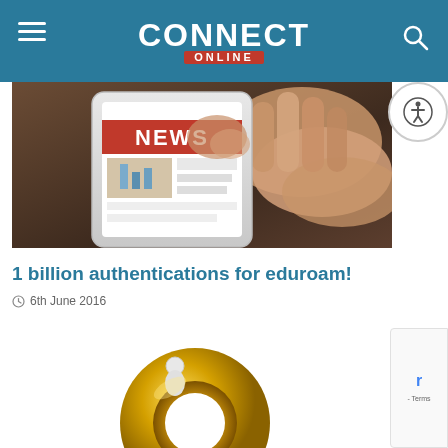CONNECT ONLINE
[Figure (photo): A hand holding a smartphone displaying a news app with 'NEWS' banner in red]
1 billion authentications for eduroam!
6th June 2016
[Figure (illustration): Partially visible gold/yellow circular lock or key illustration at bottom of page]